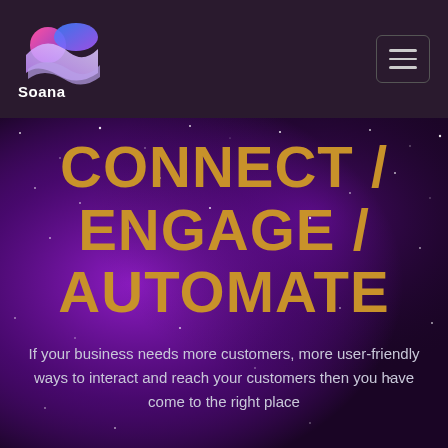[Figure (logo): Soana brand logo: abstract wave/bird shape in pink, blue, and purple gradient colors above the text 'Soana']
Soana
CONNECT / ENGAGE / AUTOMATE
If your business needs more customers, more user-friendly ways to interact and reach your customers then you have come to the right place